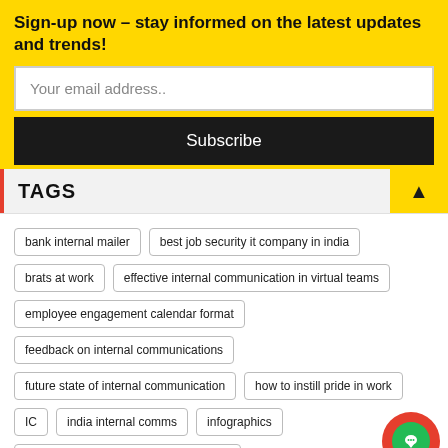Sign-up now – stay informed on the latest updates and trends!
Your email address..
Subscribe
TAGS
bank internal mailer
best job security it company in india
brats at work
effective internal communication in virtual teams
employee engagement calendar format
feedback on internal communications
future state of internal communication
how to instill pride in work
IC
india internal comms
infographics
information overload in communication